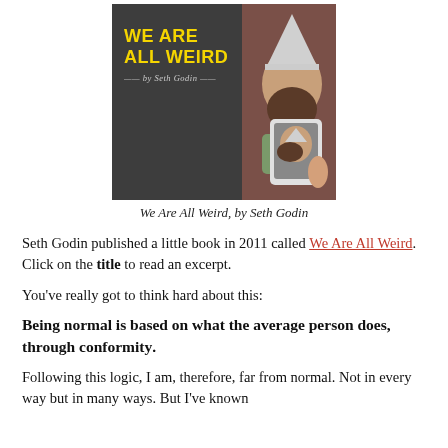[Figure (photo): Book cover of 'We Are All Weird' by Seth Godin — dark chalkboard background with yellow bold title text and italic author name on the left, and a photo of a bearded man in a dunce cap holding a tablet on the right.]
We Are All Weird, by Seth Godin
Seth Godin published a little book in 2011 called We Are All Weird. Click on the title to read an excerpt.
You've really got to think hard about this:
Being normal is based on what the average person does, through conformity.
Following this logic, I am, therefore, far from normal. Not in every way but in many ways. But I've known